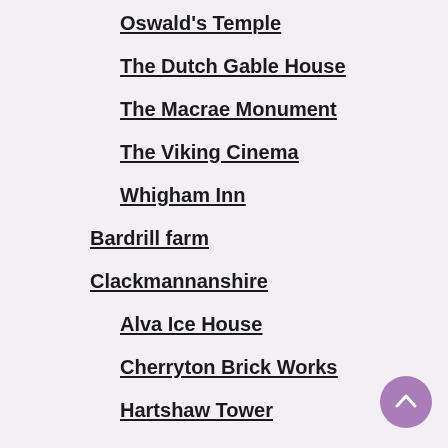Oswald's Temple
The Dutch Gable House
The Macrae Monument
The Viking Cinema
Whigham Inn
Bardrill farm
Clackmannanshire
Alva Ice House
Cherryton Brick Works
Hartshaw Tower